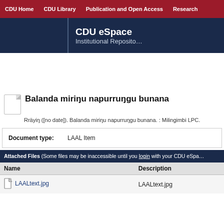CDU Home | CDU Library | Publication and Open Access | Research
[Figure (logo): CDU eSpace Institutional Repository banner with dark navy background]
Balanda miriŋu napurruŋgu bunana
Rräyiŋ ([no date]). Balanda miriŋu napurruŋgu bunana. : Milingimbi LPC.
| Document type: | LAAL Item |
Attached Files (Some files may be inaccessible until you login with your CDU eSpa…
| Name | Description |
| --- | --- |
| LAALtext.jpg | LAALtext.jpg |